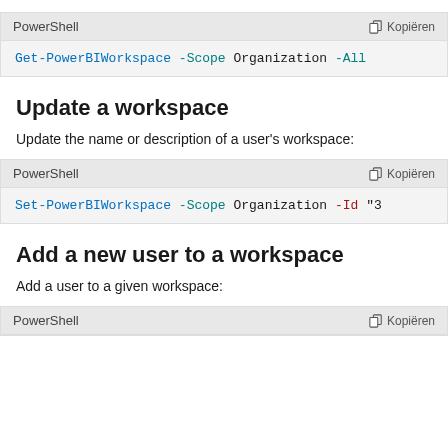[Figure (screenshot): PowerShell code block with header showing 'PowerShell' label and 'Kopiëren' (Copy) button. Code: Get-PowerBIWorkspace -Scope Organization -All]
Update a workspace
Update the name or description of a user's workspace:
[Figure (screenshot): PowerShell code block with header showing 'PowerShell' label and 'Kopiëren' (Copy) button. Code: Set-PowerBIWorkspace -Scope Organization -Id "3...]
Add a new user to a workspace
Add a user to a given workspace:
[Figure (screenshot): PowerShell code block with header showing 'PowerShell' label and 'Kopiëren' (Copy) button. Content cut off.]